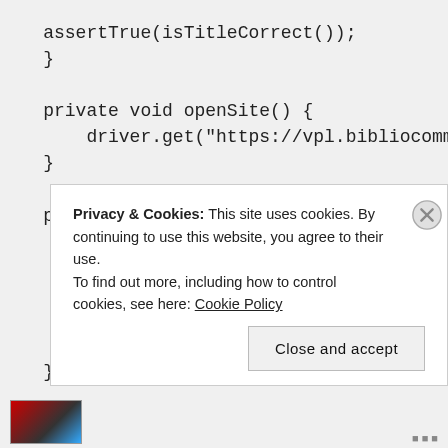assertTrue(isTitleCorrect());
    }

    private void openSite() {
        driver.get("https://vpl.bibliocommons.co
    }

    private void goToPage(int pageNumber) {
        By pageLocator = By.xpath("//a[@testid='
                                        pageNumber + "
        wait.until(ExpectedConditions
                .elementToBeClickable(pageLocator))
                .click();
    }
Privacy & Cookies: This site uses cookies. By continuing to use this website, you agree to their use.
To find out more, including how to control cookies, see here: Cookie Policy
Close and accept